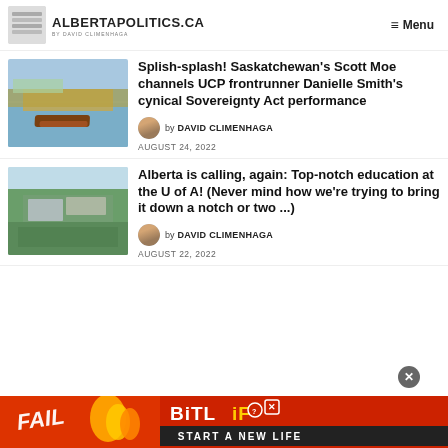ALBERTAPOLITICS.CA — Menu
[Figure (photo): Photo of a lake with reeds and a small red boat]
Splish-splash! Saskatchewan's Scott Moe channels UCP frontrunner Danielle Smith's cynical Sovereignty Act performance
by DAVID CLIMENHAGA
AUGUST 24, 2022
[Figure (photo): Aerial photo of a city with green trees and urban buildings]
Alberta is calling, again: Top-notch education at the U of A! (Never mind how we're trying to bring it down a notch or two ...)
by DAVID CLIMENHAGA
AUGUST 22, 2022
[Figure (advertisement): BitLife advertisement banner - red background with FAIL text and START A NEW LIFE tagline]